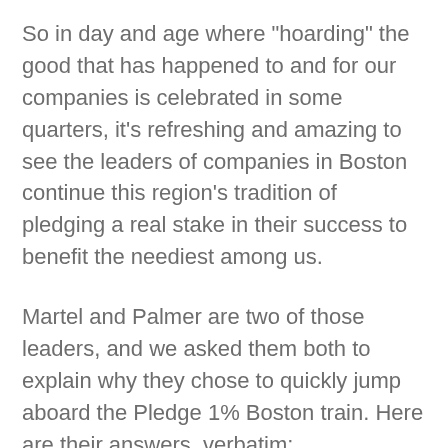So in day and age where "hoarding" the good that has happened to and for our companies is celebrated in some quarters, it's refreshing and amazing to see the leaders of companies in Boston continue this region's tradition of pledging a real stake in their success to benefit the neediest among us.
Martel and Palmer are two of those leaders, and we asked them both to explain why they chose to quickly jump aboard the Pledge 1% Boston train. Here are their answers, verbatim:
Martel: "Our involvement with nonprofit